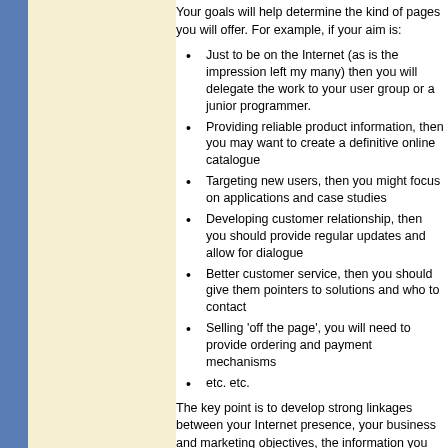Your goals will help determine the kind of pages you will offer. For example, if your aim is:
Just to be on the Internet (as is the impression left my many) then you will delegate the work to your user group or a junior programmer.
Providing reliable product information, then you may want to create a definitive online catalogue
Targeting new users, then you might focus on applications and case studies
Developing customer relationship, then you should provide regular updates and allow for dialogue
Better customer service, then you should give them pointers to solutions and who to contact
Selling 'off the page', you will need to provide ordering and payment mechanisms
etc. etc.
The key point is to develop strong linkages between your Internet presence, your business and marketing objectives, the information you provide and the way it is portrayed.